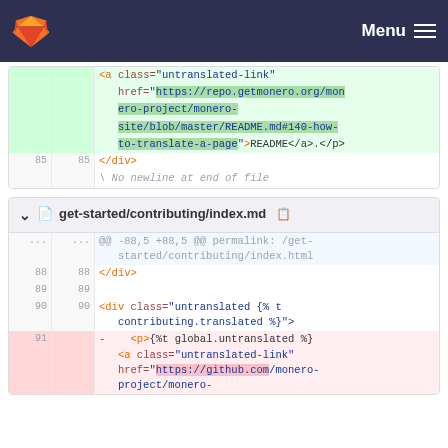Menu
[Figure (screenshot): GitLab diff view showing two file diffs. Top section shows end of a diff with highlighted green lines containing an <a> tag with href to repo.getmonero.org and README link. Bottom section shows get-started/contributing/index.md diff with lines 88-91, including </div>, blank line, a <div class='untranslated'> line, and a deleted red line with <p> tag and untranslated link to github.com.]